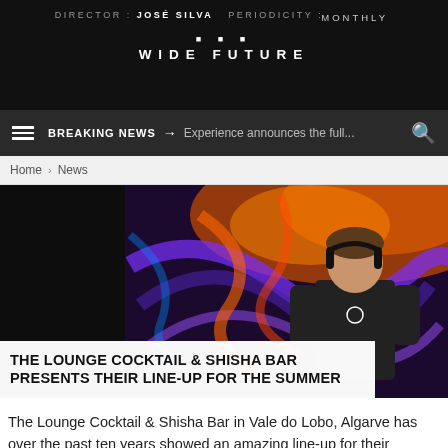DIRECTOR: JOSÉ SILVA  PERIODICITY:  MONTHLY
WIDE FUTURE
BREAKING NEWS → Experience announces the full...
Home > News
[Figure (photo): A DJ with headphones performing in front of a colorful neon abstract art backdrop, outdoors with trees in background. Another person in sunglasses visible at bottom right.]
THE LOUNGE COCKTAIL & SHISHA BAR PRESENTS THEIR LINE-UP FOR THE SUMMER
The Lounge Cocktail & Shisha Bar in Vale do Lobo, Algarve has over the past ten years showed an amazing line-up for their summer weekly